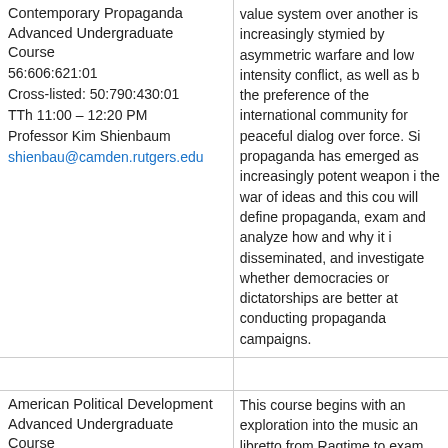| Course Info | Description |
| --- | --- |
| Contemporary Propaganda
Advanced Undergraduate Course
56:606:621:01
Cross-listed: 50:790:430:01
TTh 11:00 – 12:20 PM
Professor Kim Shienbaum
shienbau@camden.rutgers.edu | value system over another is increasingly stymied by asymmetric warfare and low intensity conflict, as well as by the preference of the international community for peaceful dialog over force. Since propaganda has emerged as an increasingly potent weapon in the war of ideas and this course will define propaganda, examine and analyze how and why it is disseminated, and investigate whether democracies or dictatorships are better at conducting propaganda campaigns. |
|  |  |
| American Political Development
Advanced Undergraduate Course
56:606:622:01
Cross-listed: 50:790:495:01
MW 1:30 – 2:50 PM
Professor Richard Harris
raharris@camden.rutgers.edu | This course begins with an exploration into the music and libretto from Ragtime to examine the underlying social, political and economic forces that led to the growth of national government. Readings include monograph studies emergence welfare state programs, farm labor alliance, Progressive, A... |